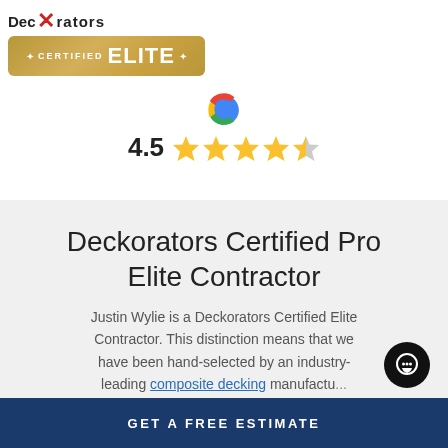[Figure (logo): Deckorators logo with red scissors/X and 'CERTIFIED ELITE' gold badge]
[Figure (infographic): Google G logo with 4.5 star rating showing 4.5 out of 5 stars]
Deckorators Certified Pro Elite Contractor
Justin Wylie is a Deckorators Certified Elite Contractor. This distinction means that we have been hand-selected by an industry-leading composite decking manufactu...
GET A FREE ESTIMATE